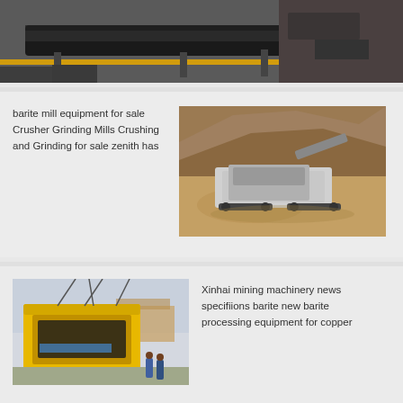[Figure (photo): Industrial conveyor belt equipment photographed from above in a facility]
barite mill equipment for sale Crusher Grinding Mills Crushing and Grinding for sale zenith has
[Figure (photo): Mobile crushing equipment in an open-pit mine with rocky terrain]
[Figure (photo): Large yellow mining machinery being lifted by crane at an industrial site with workers]
Xinhai mining machinery news specifiions barite new barite processing equipment for copper